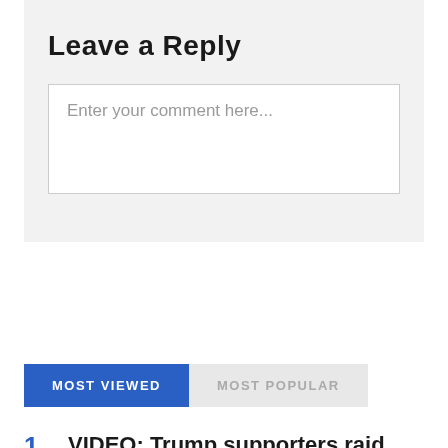Leave a Reply
Enter your comment here...
MOST VIEWED
MOST POPULAR
1. VIDEO: Trump supporters raid Senate